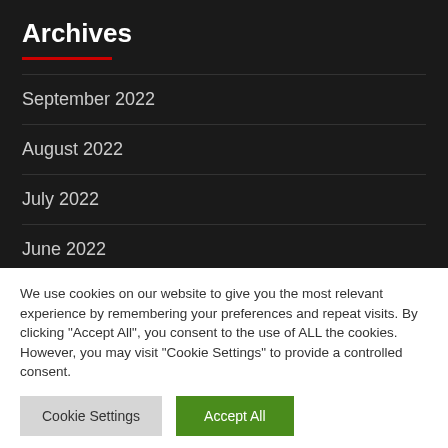Archives
September 2022
August 2022
July 2022
June 2022
May 2022
We use cookies on our website to give you the most relevant experience by remembering your preferences and repeat visits. By clicking "Accept All", you consent to the use of ALL the cookies. However, you may visit "Cookie Settings" to provide a controlled consent.